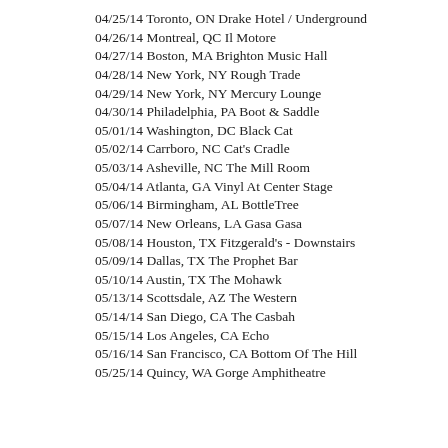04/25/14 Toronto, ON Drake Hotel / Underground
04/26/14 Montreal, QC Il Motore
04/27/14 Boston, MA Brighton Music Hall
04/28/14 New York, NY Rough Trade
04/29/14 New York, NY Mercury Lounge
04/30/14 Philadelphia, PA Boot & Saddle
05/01/14 Washington, DC Black Cat
05/02/14 Carrboro, NC Cat's Cradle
05/03/14 Asheville, NC The Mill Room
05/04/14 Atlanta, GA Vinyl At Center Stage
05/06/14 Birmingham, AL BottleTree
05/07/14 New Orleans, LA Gasa Gasa
05/08/14 Houston, TX Fitzgerald's - Downstairs
05/09/14 Dallas, TX The Prophet Bar
05/10/14 Austin, TX The Mohawk
05/13/14 Scottsdale, AZ The Western
05/14/14 San Diego, CA The Casbah
05/15/14 Los Angeles, CA Echo
05/16/14 San Francisco, CA Bottom Of The Hill
05/25/14 Quincy, WA Gorge Amphitheatre